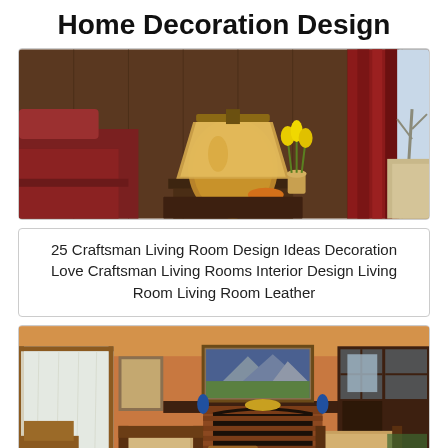Home Decoration Design
[Figure (photo): Craftsman living room interior with a large round ceramic lamp on a side table, yellow tulips in a vase, red velvet cushion, dark wood paneling, red curtains, and a beige sofa visible through a window with bare trees outside.]
25 Craftsman Living Room Design Ideas Decoration Love Craftsman Living Rooms Interior Design Living Room Living Room Leather
[Figure (photo): Craftsman style living room with a brick fireplace, dark wood mantle, landscape painting above the fireplace, Mission-style wooden chairs with upholstered cushions, built-in bookshelves with glass doors, and a large window with sheer curtains on the left.]